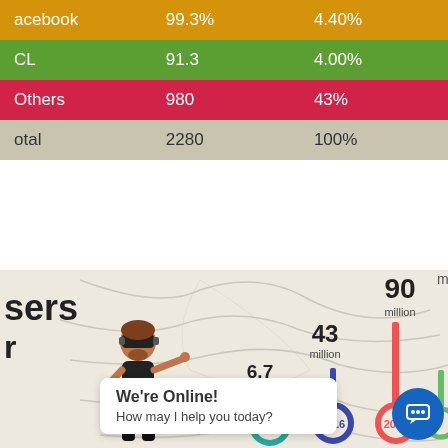|  |  |  |
| --- | --- | --- |
| Facebook | 99.3% | 4.40% |
| CL | 91.3 | 4.00% |
| Others | 980 | 43% |
| Total | 2280 | 100% |
[Figure (infographic): Infographic showing VR users by year with lollipop chart. Values: 6.7 million (2015), 43 million (2016), 90 million (2017). Person with VR headset illustration on left. Map background. Chat widget overlay at bottom: 'We're Online! How may I help you today?']